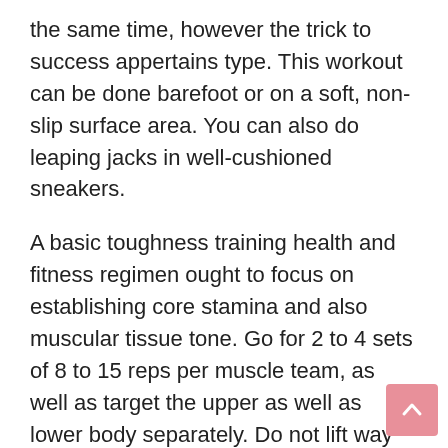the same time, however the trick to success appertains type. This workout can be done barefoot or on a soft, non-slip surface area. You can also do leaping jacks in well-cushioned sneakers.
A basic toughness training health and fitness regimen ought to focus on establishing core stamina and also muscular tissue tone. Go for 2 to 4 sets of 8 to 15 reps per muscle team, as well as target the upper as well as lower body separately. Do not lift way too much weight or lift way too many weights. Attempt to do 2 or three workouts a week. A correct exercise program will provide you with the muscles as well as stamina you require to attain a fit body. It's important to remain healthy as you age.